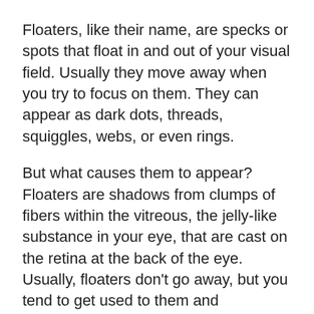Floaters, like their name, are specks or spots that float in and out of your visual field. Usually they move away when you try to focus on them. They can appear as dark dots, threads, squiggles, webs, or even rings.
But what causes them to appear? Floaters are shadows from clumps of fibers within the vitreous, the jelly-like substance in your eye, that are cast on the retina at the back of the eye. Usually, floaters don't go away, but you tend to get used to them and eventually notice them less. Patients usually see them more when they are looking at a plain background, like the blue sky or a white wall.
In most cases, there is no treatment for floaters, people just get used to them, however if there are more serious symptoms that accompany them, there could be an underlying problem such as inflammation,